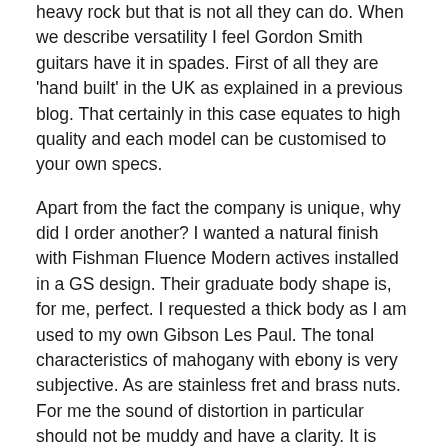heavy rock but that is not all they can do. When we describe versatility I feel Gordon Smith guitars have it in spades. First of all they are 'hand built' in the UK as explained in a previous blog. That certainly in this case equates to high quality and each model can be customised to your own specs.
Apart from the fact the company is unique, why did I order another? I wanted a natural finish with Fishman Fluence Modern actives installed in a GS design. Their graduate body shape is, for me, perfect. I requested a thick body as I am used to my own Gibson Les Paul. The tonal characteristics of mahogany with ebony is very subjective. As are stainless fret and brass nuts. For me the sound of distortion in particular should not be muddy and have a clarity. It is why I tend to steer towards active pickups. The Fishmans being multi voiced means they can even be